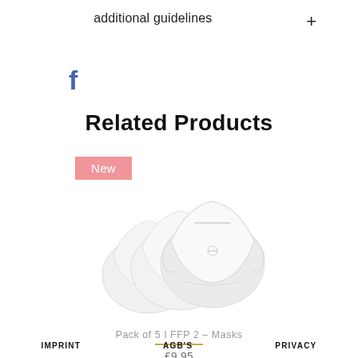additional guidelines  +
[Figure (logo): Facebook 'f' logo icon in blue]
Related Products
[Figure (photo): Pack of 5 FFP2 white face masks fanned out, with a pink 'New' badge overlay in top left]
Pack of 5 I FFP 2 – Masks
£9.95
IMPRINT   AGB'S   PRIVACY